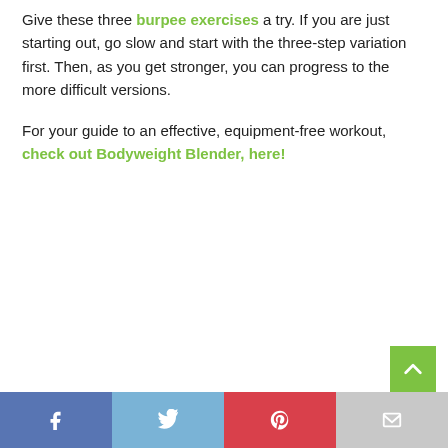Give these three burpee exercises a try. If you are just starting out, go slow and start with the three-step variation first. Then, as you get stronger, you can progress to the more difficult versions.
For your guide to an effective, equipment-free workout, check out Bodyweight Blender, here!